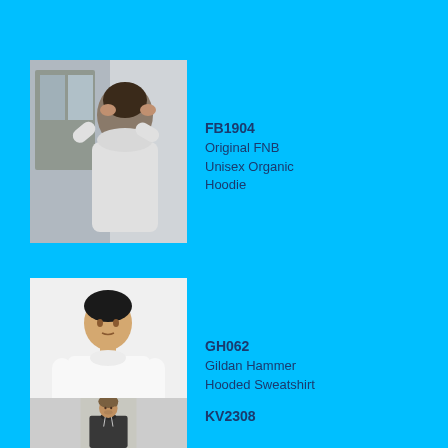[Figure (photo): Man in light grey hoodie standing near a window with hands on head]
FB1904
Original FNB Unisex Organic Hoodie
[Figure (photo): Asian man wearing white hooded sweatshirt, hands in pockets]
GH062
Gildan Hammer Hooded Sweatshirt
[Figure (photo): Man wearing dark charcoal hoodie with white drawstrings]
KV2308